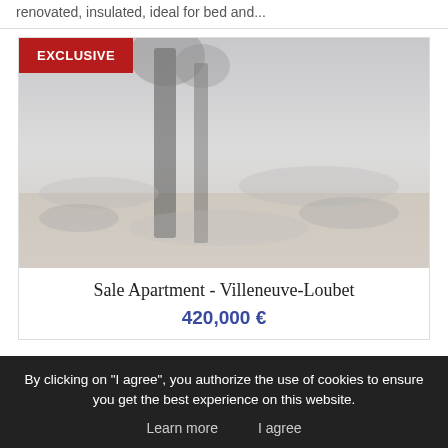renovated, insulated, ideal for bed and...
[Figure (photo): Exterior photo of apartment property in Villeneuve-Loubet with an EXCLUSIVE badge in red at top left, showing a misty landscape with tree silhouettes]
Sale Apartment - Villeneuve-Loubet
420,000 €
By clicking on "I agree", you authorize the use of cookies to ensure you get the best experience on this website.
Learn more    I agree